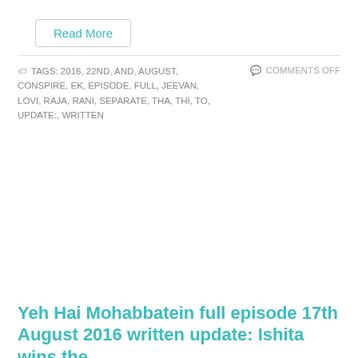Read More
TAGS: 2016, 22ND, AND, AUGUST, CONSPIRE, EK, EPISODE, FULL, JEEVAN, LOVI, RAJA, RANI, SEPARATE, THA, THI, TO, UPDATE:, WRITTEN   COMMENTS OFF
Yeh Hai Mohabbatein full episode 17th August 2016 written update: Ishita wins the